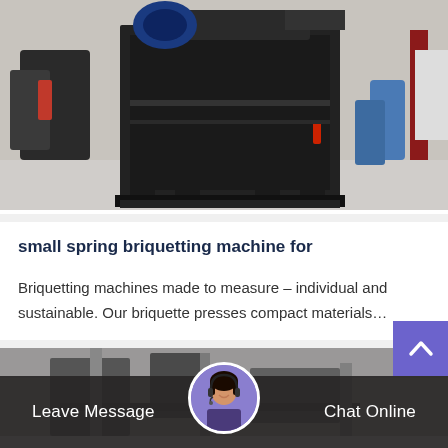[Figure (photo): Large industrial briquetting machine (black metal, heavy equipment) photographed in a factory/warehouse setting]
small spring briquetting machine for
Briquetting machines made to measure – individual and sustainable. Our briquette presses compact materials…
[Figure (photo): Second card showing another industrial machine in a factory, partially visible]
[Figure (photo): Chat support avatar: woman with headset]
Leave Message
Chat Online